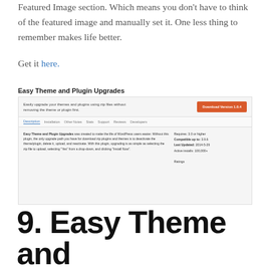Featured Image section. Which means you don't have to think of the featured image and manually set it. One less thing to remember makes life better.
Get it here.
[Figure (screenshot): Screenshot of the Easy Theme and Plugin Upgrades WordPress plugin page, showing a download button, navigation tabs (Description, Installation, Other Notes, Stats, Support, Reviews, Developers), plugin description text, and metadata (Requires 3.0 or higher, Compatible up to 3.9.6, Last Updated 2014-5-29, Active installs 100,000+).]
9. Easy Theme and